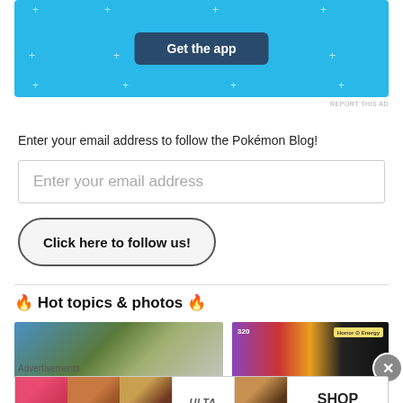[Figure (screenshot): Blue app advertisement banner with 'Get the app' button and sparkle decorations]
REPORT THIS AD
Enter your email address to follow the Pokémon Blog!
Enter your email address
Click here to follow us!
🔥 Hot topics & photos 🔥
[Figure (photo): Two thumbnail images: left shows a plant/nature scene, right shows Pokémon cards including Horror Energy card]
Advertisements
[Figure (screenshot): Ulta Beauty advertisement strip with makeup images and 'SHOP NOW' text]